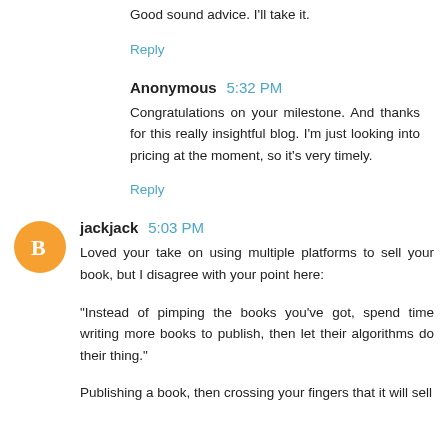Good sound advice. I'll take it.
Reply
Anonymous 5:32 PM
Congratulations on your milestone. And thanks for this really insightful blog. I'm just looking into pricing at the moment, so it's very timely.
Reply
jackjack 5:03 PM
Loved your take on using multiple platforms to sell your book, but I disagree with your point here:
"Instead of pimping the books you've got, spend time writing more books to publish, then let their algorithms do their thing."
Publishing a book, then crossing your fingers that it will sell